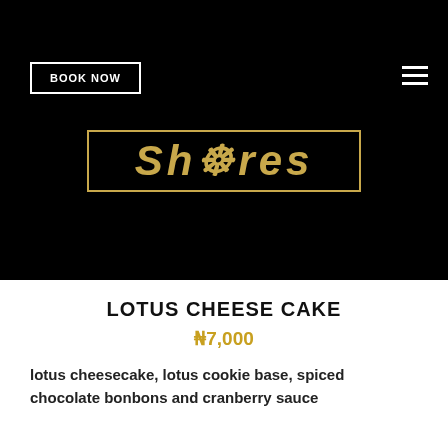[Figure (logo): Shores restaurant logo in gold stylized lettering inside a gold rectangular border on a black background]
BOOK NOW
LOTUS CHEESE CAKE
₦7,000
lotus cheesecake, lotus cookie base, spiced chocolate bonbons and cranberry sauce